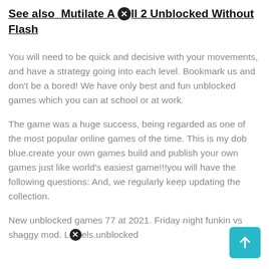See also  Mutilate A Doll 2 Unblocked Without Flash
You will need to be quick and decisive with your movements, and have a strategy going into each level. Bookmark us and don't be a bored! We have only best and fun unblocked games which you can at school or at work.
The game was a huge success, being regarded as one of the most popular online games of the time. This is my dob blue.create your own games build and publish your own games just like world's easiest game!!!you will have the following questions: And, we regularly keep updating the collection.
New unblocked games 77 at 2021. Friday night funkin vs shaggy mod. Levels.unblocked